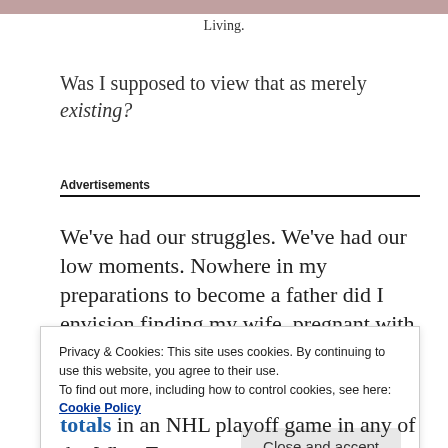[Figure (photo): Partial image strip at top of page, appears to be a cropped photograph]
Living.
Was I supposed to view that as merely existing?
Advertisements
We've had our struggles. We've had our low moments. Nowhere in my preparations to become a father did I envision finding my wife, pregnant with
Privacy & Cookies: This site uses cookies. By continuing to use this website, you agree to their use.
To find out more, including how to control cookies, see here: Cookie Policy
totals in an NHL playoff game in any of the What To